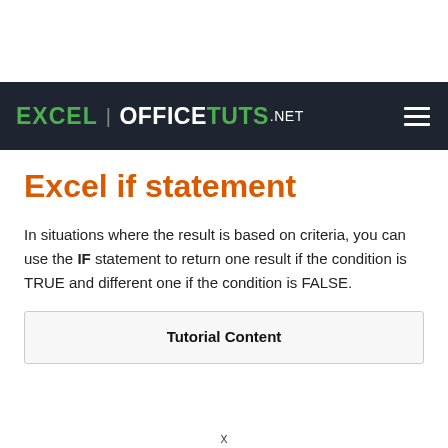EXCEL | OFFICETUTS.NET
Excel if statement
In situations where the result is based on criteria, you can use the IF statement to return one result if the condition is TRUE and different one if the condition is FALSE.
Tutorial Content